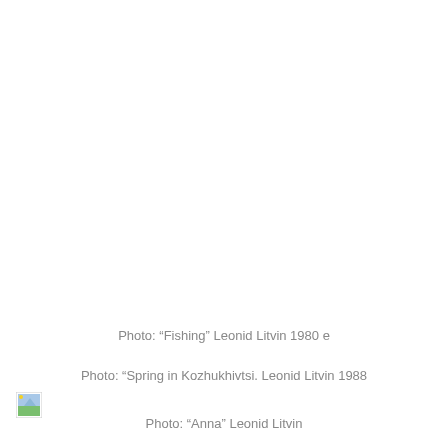Photo: “Fishing” Leonid Litvin 1980 e
Photo: “Spring in Kozhukhivtsi. Leonid Litvin 1988
[Figure (photo): Broken image placeholder icon (small image icon with green and blue colors)]
Photo: “Anna” Leonid Litvin